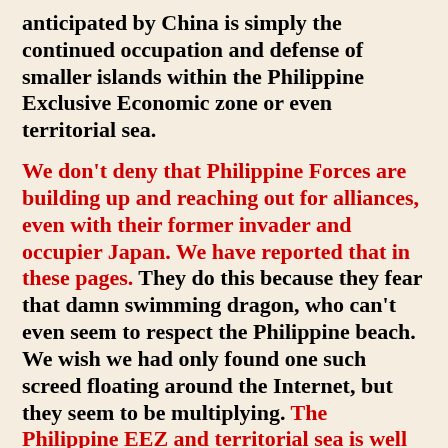anticipated by China is simply the continued occupation and defense of smaller islands within the Philippine Exclusive Economic zone or even territorial sea.

We don't deny that Philippine Forces are building up and reaching out for alliances, even with their former invader and occupier Japan. We have reported that in these pages. They do this because they fear that damn swimming dragon, who can't even seem to respect the Philippine beach. We wish we had only found one such screed floating around the Internet, but they seem to be multiplying. The Philippine EEZ and territorial sea is well surveyed and documented and is organized in accordance with the latest requirements of International Conference on the Law of the Sea. The few disputed areas are mostly rocks and shoals and could arguably be claimed by Vietnam. China makes claim on these disputed areas though